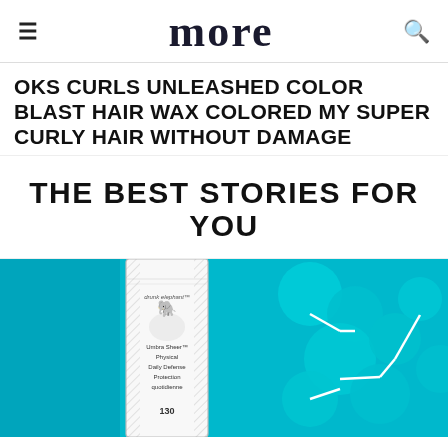≡  more  🔍
OKS CURLS UNLEASHED COLOR BLAST HAIR WAX COLORED MY SUPER CURLY HAIR WITHOUT DAMAGE
THE BEST STORIES FOR YOU
[Figure (photo): A product photo of a white tube (Drunk Elephant sunscreen/skincare product) against a bright teal/turquoise background with decorative teal circular bubble shapes]